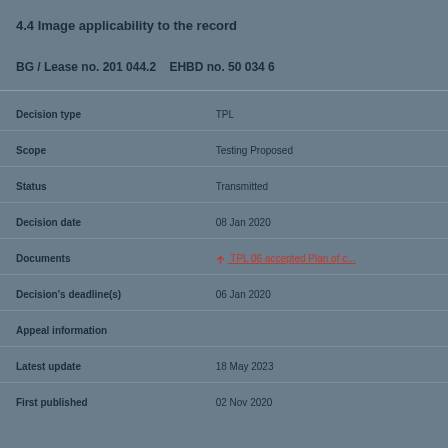4.4 Image applicability to the record
BG / Lease no. 201 044.2   EHBD no. 50 034 6
| Field | Value |
| --- | --- |
| Decision type | TPL |
| Scope | Testing Proposed |
| Status | Transmitted |
| Decision date | 08 Jan 2020 |
| Documents | TPL 06 accepted Plan of c... |
| Decision's deadline(s) | 06 Jan 2020 |
| Appeal information |  |
| Latest update | 18 May 2023 |
| First published | 02 Nov 2020 |